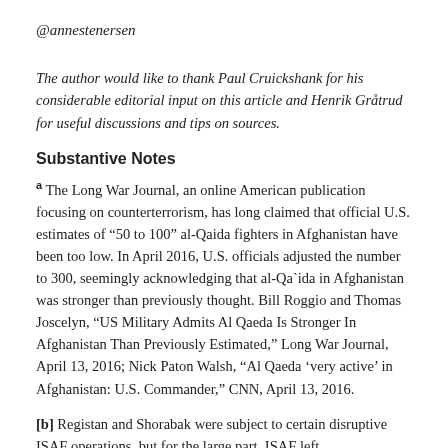@annestenersen
The author would like to thank Paul Cruickshank for his considerable editorial input on this article and Henrik Gråtrud for useful discussions and tips on sources.
Substantive Notes
a The Long War Journal, an online American publication focusing on counterterrorism, has long claimed that official U.S. estimates of “50 to 100” al-Qaida fighters in Afghanistan have been too low. In April 2016, U.S. officials adjusted the number to 300, seemingly acknowledging that al-Qa`ida in Afghanistan was stronger than previously thought. Bill Roggio and Thomas Joscelyn, “US Military Admits Al Qaeda Is Stronger In Afghanistan Than Previously Estimated,” Long War Journal, April 13, 2016; Nick Paton Walsh, “Al Qaeda ‘very active’ in Afghanistan: U.S. Commander,” CNN, April 13, 2016.
[b] Registan and Shorabak were subject to certain disruptive ISAF operations, but for the large part, ISAF left